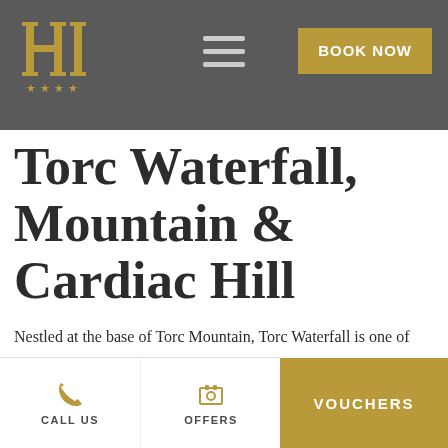Hotel logo with four stars, hamburger menu, BOOK NOW button
Torc Waterfall, Mountain & Cardiac Hill
Nestled at the base of Torc Mountain, Torc Waterfall is one of Killarney's most striking natural features. Standing at roughly 20 metres in height, the waterfall is beautiful, rugged and at its
CALL US   OFFERS   VOUCHERS